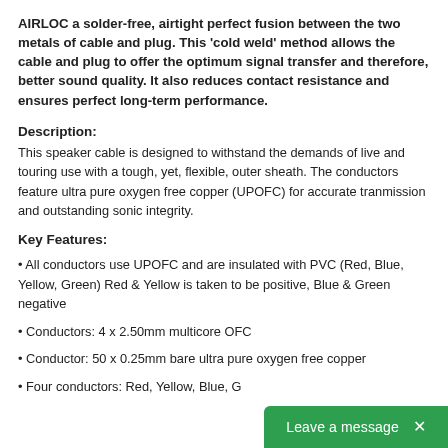AIRLOC a solder-free, airtight perfect fusion between the two metals of cable and plug. This 'cold weld' method allows the cable and plug to offer the optimum signal transfer and therefore, better sound quality. It also reduces contact resistance and ensures perfect long-term performance.
Description:
This speaker cable is designed to withstand the demands of live and touring use with a tough, yet, flexible, outer sheath. The conductors feature ultra pure oxygen free copper (UPOFC) for accurate tranmission and outstanding sonic integrity.
Key Features:
• All conductors use UPOFC and are insulated with PVC (Red, Blue, Yellow, Green) Red & Yellow is taken to be positive, Blue & Green negative
• Conductors: 4 x 2.50mm multicore OFC
• Conductor: 50 x 0.25mm bare ultra pure oxygen free copper
• Four conductors: Red, Yellow, Blue, G…